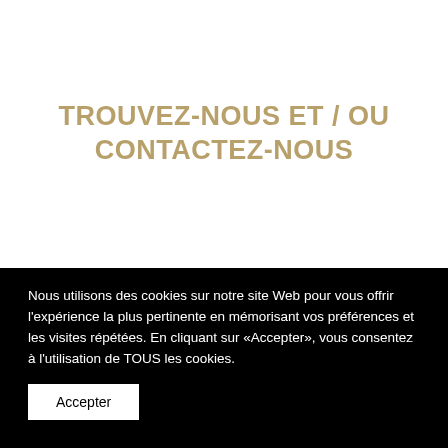TROUVEZ-NOUS ET / OU CONTACTEZ-NOUS
Nous utilisons des cookies sur notre site Web pour vous offrir l'expérience la plus pertinente en mémorisant vos préférences et les visites répétées. En cliquant sur «Accepter», vous consentez à l'utilisation de TOUS les cookies.
Accepter